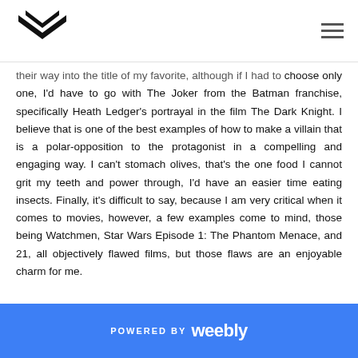[Logo] [Hamburger menu]
their way into the title of my favorite, although if I had to choose only one, I'd have to go with The Joker from the Batman franchise, specifically Heath Ledger's portrayal in the film The Dark Knight. I believe that is one of the best examples of how to make a villain that is a polar-opposition to the protagonist in a compelling and engaging way. I can't stomach olives, that's the one food I cannot grit my teeth and power through, I'd have an easier time eating insects. Finally, it's difficult to say, because I am very critical when it comes to movies, however, a few examples come to mind, those being Watchmen, Star Wars Episode 1: The Phantom Menace, and 21, all objectively flawed films, but those flaws are an enjoyable charm for me.
POWERED BY weebly